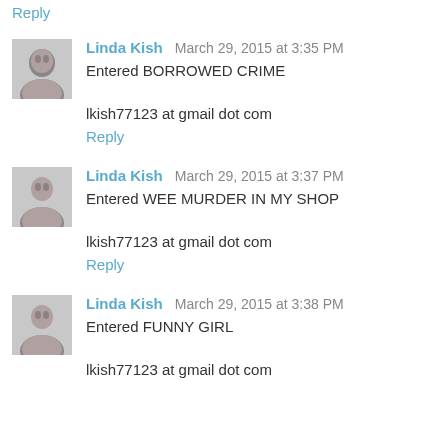Reply
Linda Kish March 29, 2015 at 3:35 PM
Entered BORROWED CRIME
lkish77123 at gmail dot com
Reply
Linda Kish March 29, 2015 at 3:37 PM
Entered WEE MURDER IN MY SHOP
lkish77123 at gmail dot com
Reply
Linda Kish March 29, 2015 at 3:38 PM
Entered FUNNY GIRL
lkish77123 at gmail dot com